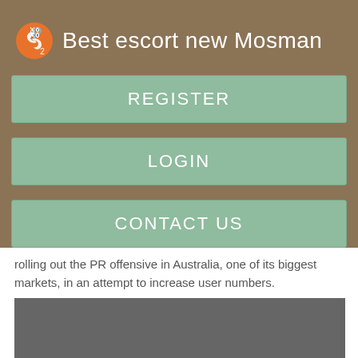Best escort new Mosman
REGISTER
LOGIN
CONTACT US
rolling out the PR offensive in Australia, one of its biggest markets, in an attempt to increase user numbers.
[Figure (other): Dark gray rectangular placeholder image area]